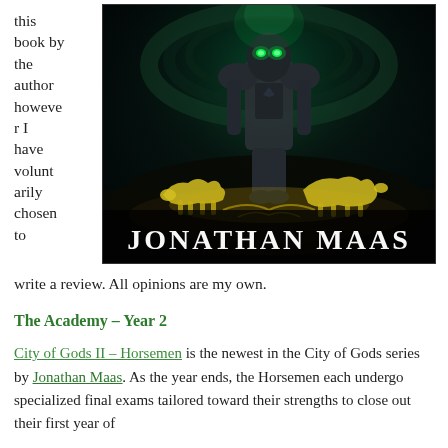this book by the author however I have voluntarily chosen to
[Figure (photo): Book cover for City of Gods II – Horsemen by Jonathan Maas, showing an armored figure with glowing green eyes standing over glowing animal silhouettes, with the author's name 'JONATHAN MAAS' in large white text at the bottom.]
write a review. All opinions are my own.
The Academy – Year 2
City of Gods II – Horsemen is the newest in the City of Gods series by Jonathan Maas. As the year ends, the Horsemen each undergo specialized final exams tailored toward their strengths to close out their first year of